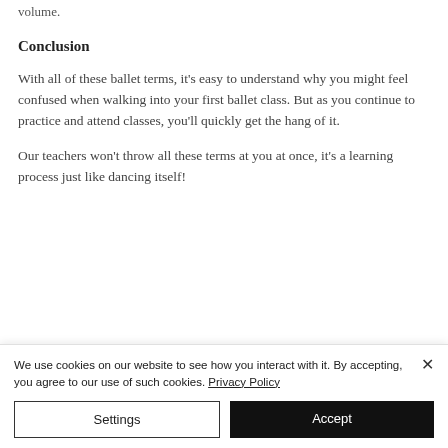volume.
Conclusion
With all of these ballet terms, it's easy to understand why you might feel confused when walking into your first ballet class. But as you continue to practice and attend classes, you'll quickly get the hang of it.
Our teachers won't throw all these terms at you at once, it's a learning process just like dancing itself!
We use cookies on our website to see how you interact with it. By accepting, you agree to our use of such cookies. Privacy Policy
Settings
Accept